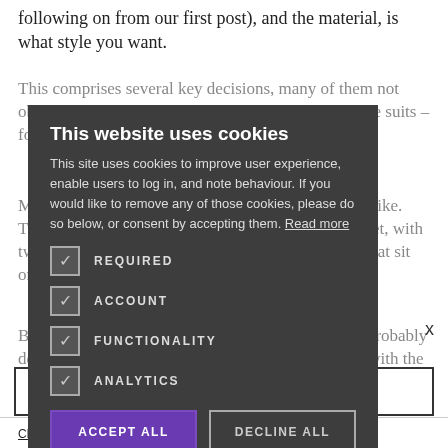following on from our first post), and the material, is what style you want.
This comprises several key decisions, many of them not o[verlooked] – particularly made-to-measure or bespoke suits – for the first time.
Most men have a pretty good idea what a suit looks like. Their mental image will be of a single-breasted jacket, with two or three buttons and notch lapels, and trousers that sit on the hips, probably without pleats or b[elt loops].
B[ut] while this may seem 'standard', those men will p[robably] describe the suit in these terms. So when presented with the question 'what style of suit
This website uses cookies
This site uses cookies to improve user experience, enable users to log in, and note behaviour. If you would like to remove any of those cookies, please do so below, or consent by accepting them. Read more
REQUIRED
ACCOUNT
FUNCTIONALITY
ANALYTICS
ACCEPT ALL
DECLINE ALL
The [Italian style is] sicker
CLICK HERE TO REGISTER
Click here to read our Privacy Policy